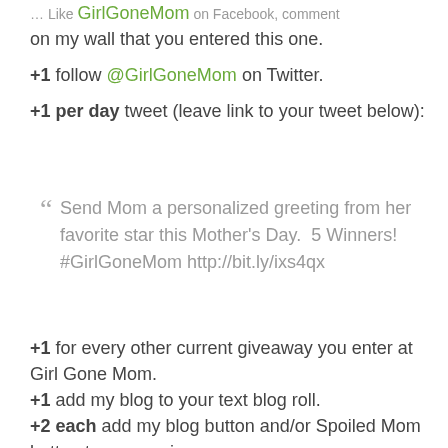Like GirlGoneMom on Facebook, comment on my wall that you entered this one.
+1 follow @GirlGoneMom on Twitter.
+1 per day tweet (leave link to your tweet below):
“ Send Mom a personalized greeting from her favorite star this Mother’s Day. 5 Winners! #GirlGoneMom http://bit.ly/ixs4qx
+1 for every other current giveaway you enter at Girl Gone Mom.
+1 add my blog to your text blog roll.
+2 each add my blog button and/or Spoiled Mom button to your main page.